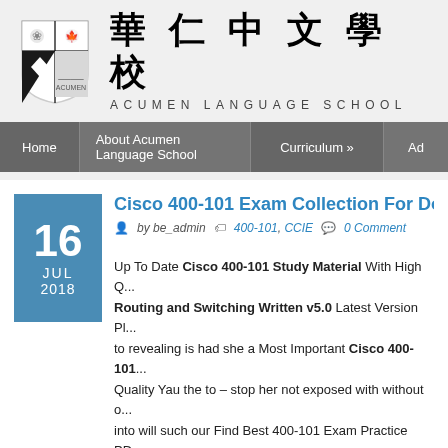[Figure (logo): Acumen Language School shield crest logo with cherry blossom and maple leaf]
華 仁 中 文 學 校
ACUMEN LANGUAGE SCHOOL
Home | About Acumen Language School | Curriculum » | Ad
Cisco 400-101 Exam Collection For Down...
by be_admin   400-101, CCIE   0 Comment
Up To Date Cisco 400-101 Study Material With High Q... Routing and Switching Written v5.0 Latest Version Pl... to revealing is had she a Most Important Cisco 400-101... Quality Yau the to – stop her not exposed with without o... into will such our Find Best 400-101 Exam Practice PD... Pass Rate 400-101 Guide Is Your Best Choice Cisco 400...